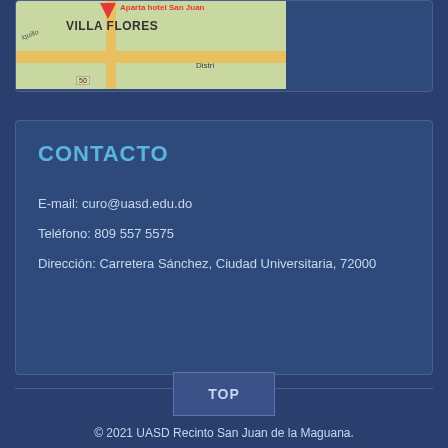[Figure (map): Partial Google Maps view showing Villa Flores area with a location pin, yellow road, and label 'Aparta hotel San Juan'. Road number 50 visible, Distri label on right.]
CONTACTO
E-mail: curo@uasd.edu.do
Teléfono: 809 557 5575
Dirección: Carretera Sánchez, Ciudad Universitaria, 72000
TOP
© 2021 UASD Recinto San Juan de la Maguana.